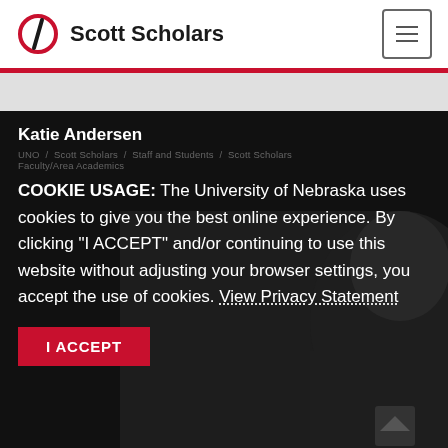Scott Scholars
Katie Andersen
UNO / Scott Scholars / Staff and Students / Scott Scholars Faculty/Area Academics
COOKIE USAGE: The University of Nebraska uses cookies to give you the best online experience. By clicking "I ACCEPT" and/or continuing to use this website without adjusting your browser settings, you accept the use of cookies. View Privacy Statement
[Figure (photo): Photo of Katie Andersen, partially visible in dark background at bottom of page]
I ACCEPT